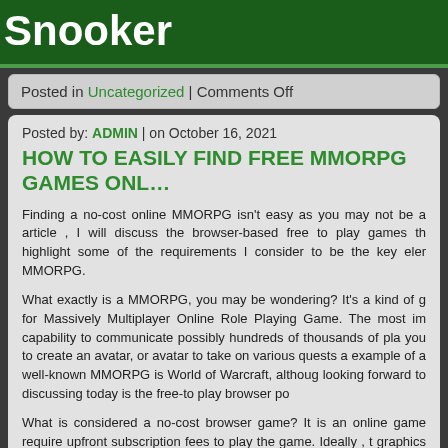Snooker
Posted in Uncategorized | Comments Off
Posted by: ADMIN | on October 16, 2021
HOW TO EASILY FIND FREE MMORPG GAMES ONL…
Finding a no-cost online MMORPG isn't easy as you may not be a article , I will discuss the browser-based free to play games th highlight some of the requirements I consider to be the key eler MMORPG.
What exactly is a MMORPG, you may be wondering? It's a kind of g for Massively Multiplayer Online Role Playing Game. The most im capability to communicate possibly hundreds of thousands of pla you to create an avatar, or avatar to take on various quests a example of a well-known MMORPG is World of Warcraft, althoug looking forward to discussing today is the free-to play browser po
What is considered a no-cost browser game? It is an online game require upfront subscription fees to play the game. Ideally , t graphics a fun gameplay and a hugely multiplayer component. O